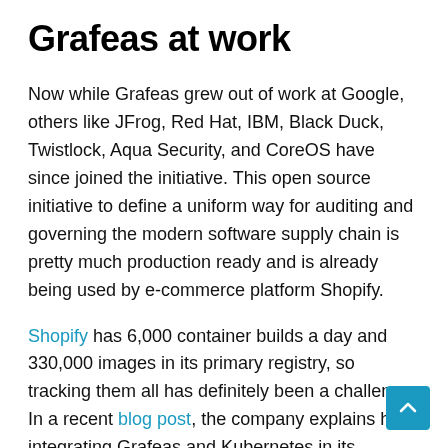Grafeas at work
Now while Grafeas grew out of work at Google, others like JFrog, Red Hat, IBM, Black Duck, Twistlock, Aqua Security, and CoreOS have since joined the initiative. This open source initiative to define a uniform way for auditing and governing the modern software supply chain is pretty much production ready and is already being used by e-commerce platform Shopify.
Shopify has 6,000 container builds a day and 330,000 images in its primary registry, so tracking them all has definitely been a challenge. In a recent blog post, the company explains how integrating Grafeas and Kubernetes in its Kubernetes pipeline has allowed it to automatically store build and vulnerability information about each container. Additionally, it also allows for strict enforcement of a built-by-Shopify policy which makes sure all Kubernetes clusters only run images signed by its